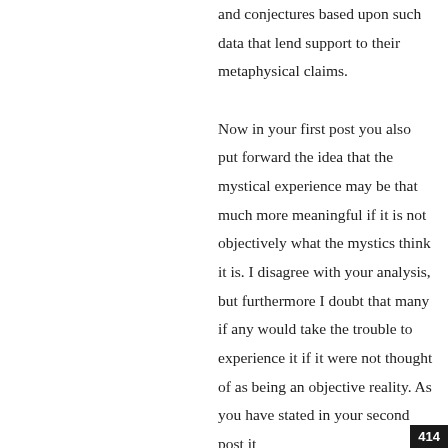and conjectures based upon such data that lend support to their metaphysical claims.

Now in your first post you also put forward the idea that the mystical experience may be that much more meaningful if it is not objectively what the mystics think it is. I disagree with your analysis, but furthermore I doubt that many if any would take the trouble to experience it if it were not thought of as being an objective reality. As you have stated in your second post it
414